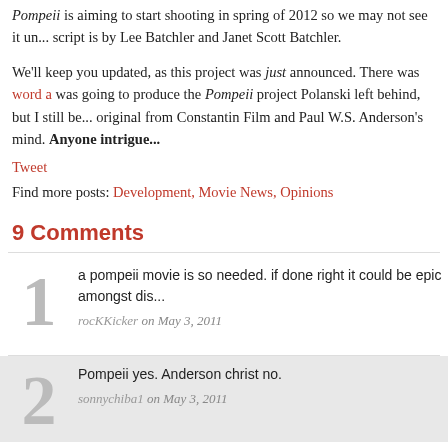Pompeii is aiming to start shooting in spring of 2012 so we may not see it un... script is by Lee Batchler and Janet Scott Batchler.
We'll keep you updated, as this project was just announced. There was word a... was going to produce the Pompeii project Polanski left behind, but I still be... original from Constantin Film and Paul W.S. Anderson's mind. Anyone intrigue...
Tweet
Find more posts: Development, Movie News, Opinions
9 Comments
a pompeii movie is so needed. if done right it could be epic amongst dis...
rocKKicker on May 3, 2011
Pompeii yes. Anderson christ no.
sonnychiba1 on May 3, 2011
%$#@ you Paul for ruining AvP
Nick S. on May 3, 2011